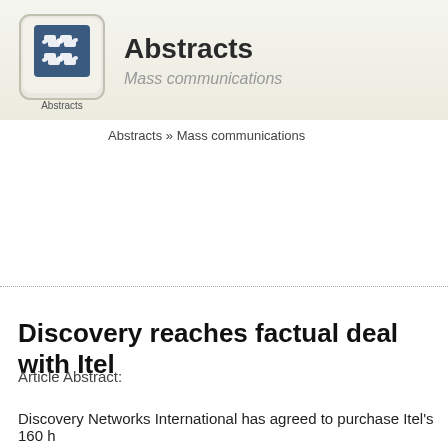[Figure (logo): Abstracts logo: puzzle piece icon with label 'Abstracts' on a keyboard key, with site name 'Abstracts' and subtitle 'Mass communications']
Abstracts » Mass communications
Discovery reaches factual deal with Itel
Article Abstract:
Discovery Networks International has agreed to purchase Itel's 160 h